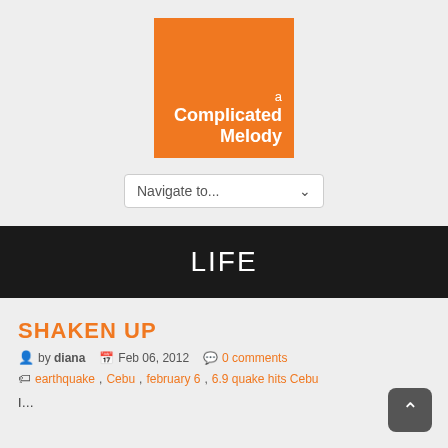[Figure (logo): Orange square logo with white text reading 'a Complicated Melody']
[Figure (other): Navigation dropdown selector labeled 'Navigate to...']
LIFE
SHAKEN UP
by diana   Feb 06, 2012   0 comments
earthquake, Cebu, february 6, 6.9 quake hits Cebu
I...